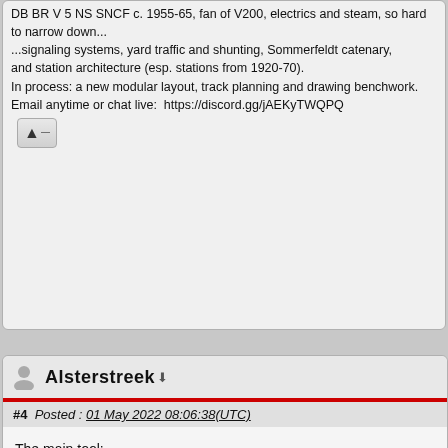DB BR V 5 NS SNCF c. 1955-65, fan of V200, electrics and steam, so hard to narrow down...
...signaling systems, yard traffic and shunting, Sommerfeldt catenary, and station architecture (esp. stations from 1920-70).
In process: a new modular layout, track planning and drawing benchwork.
Email anytime or chat live:  https://discord.gg/jAEKyTWQPQ
Alsterstreek
#4  Posted :  01 May 2022 08:06:38(UTC)
The main tool:
https://www.fohrmann.com...rmass-lehre-fuer-h0.html
Greetz - Ak
[Figure (photo): Strip of orange locomotive images on black background]
My current "layout":  https://www.marklin-user...aigne-Project#post592818